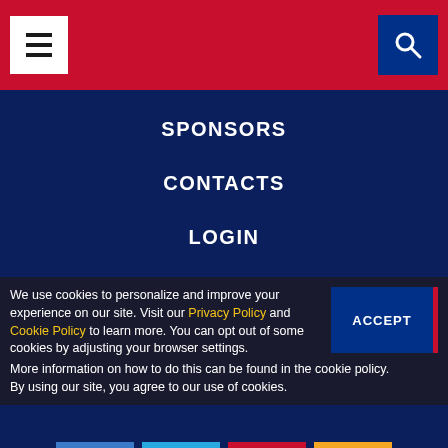[Figure (screenshot): Navigation header bar with hamburger menu icon on left and search icon on right, red background]
SPONSORS
CONTACTS
LOGIN
TERMS AND CONDITIONS
DATA PROTECTION POLICIES
USER ACCOUNT
[Figure (infographic): Social media icons: LinkedIn (blue), Twitter (light blue), YouTube (red), RSS (orange)]
We use cookies to personalize and improve your experience on our site. Visit our Privacy Policy and Cookie Policy to learn more. You can opt out of some cookies by adjusting your browser settings.
More information on how to do this can be found in the cookie policy.
By using our site, you agree to our use of cookies.